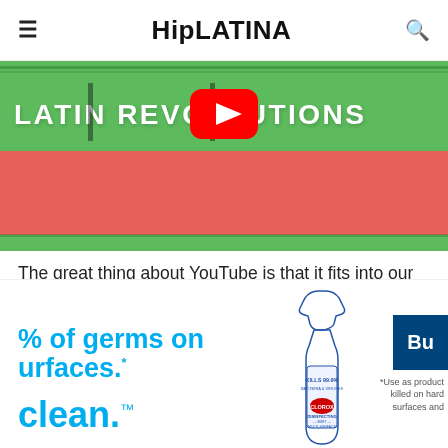HipLATINA
[Figure (screenshot): YouTube video thumbnail showing 'LATIN REVOLUTIONS' text on green band with YouTube play button, decorative stripes on coral/red background]
The great thing about YouTube is that it fits into our shorter attention spans these days. You can
[Figure (advertisement): Clorox Disinfecting Mist advertisement showing spray bottle with text 'Kills 99.9% bacteria & viruses', '% of germs on surfaces.*', 'clean.' in blue, and 'Buy' button]